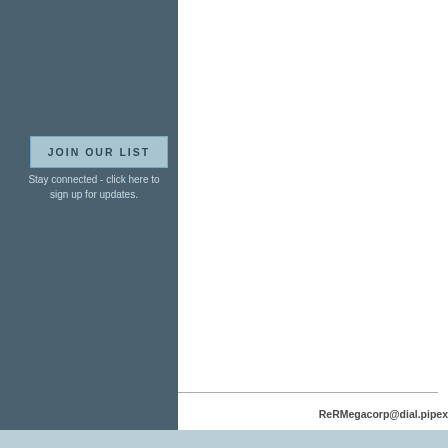[Figure (other): Dark teal/slate colored left panel background covering approximately the left third of the page]
JOIN OUR LIST
Stay connected - click here to sign up for updates.
ReRMegacorp@dial.pipex